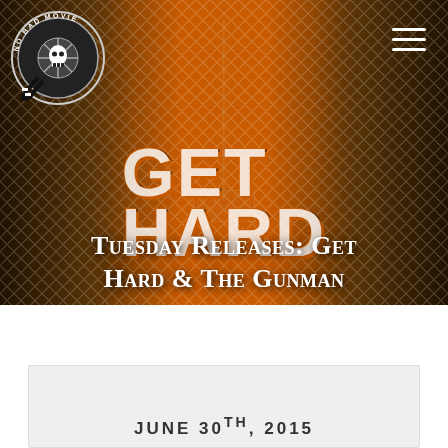[Figure (photo): Hero banner image for the movie 'Get Hard' — two men's faces on orange background with chain-link fence and Washington Monument silhouette. No Bad Movie logo in top-left corner, hamburger menu in top-right. Large 'GET HARD' text overlays the center.]
Tuesday Releases: Get Hard & The Gunman
JUNE 30TH, 2015